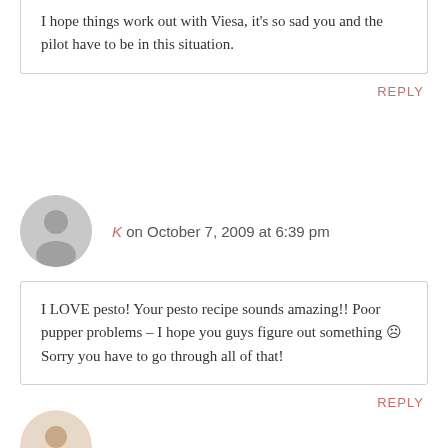I hope things work out with Viesa, it's so sad you and the pilot have to be in this situation.
REPLY
K on October 7, 2009 at 6:39 pm
I LOVE pesto! Your pesto recipe sounds amazing!! Poor pupper problems – I hope you guys figure out something 🙁 Sorry you have to go through all of that!
REPLY